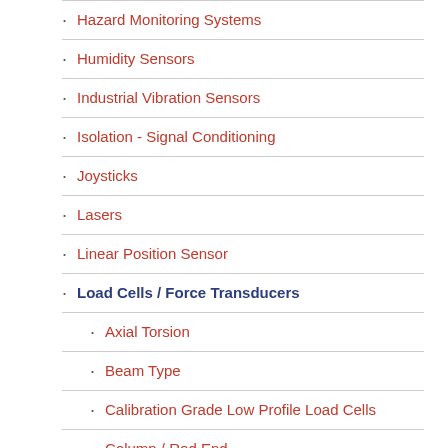Hazard Monitoring Systems
Humidity Sensors
Industrial Vibration Sensors
Isolation - Signal Conditioning
Joysticks
Lasers
Linear Position Sensor
Load Cells / Force Transducers
Axial Torsion
Beam Type
Calibration Grade Low Profile Load Cells
Column / Rod End
Dual Range